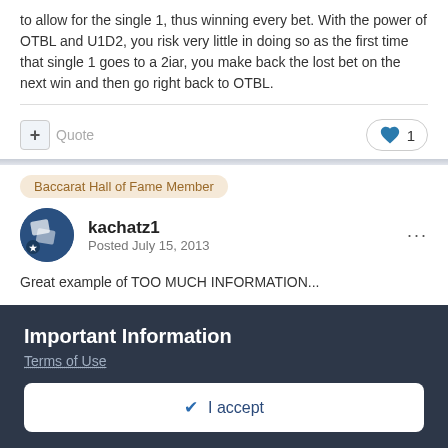to allow for the single 1, thus winning every bet. With the power of OTBL and U1D2, you risk very little in doing so as the first time that single 1 goes to a 2iar, you make back the lost bet on the next win and then go right back to OTBL.
Quote | 1 like
Baccarat Hall of Fame Member
kachatz1
Posted July 15, 2013
Great example of TOO MUCH INFORMATION...
Important Information
Terms of Use
✔ I accept